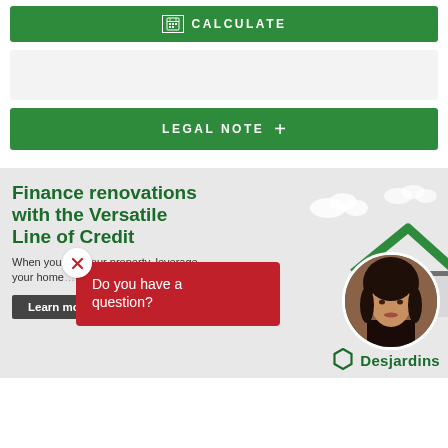[Figure (screenshot): Green CALCULATE button bar with calculator icon]
[Figure (screenshot): Empty result/output box (light gray)]
[Figure (screenshot): Green LEGAL NOTE + collapsible bar]
Finance renovations with the Versatile Line of Credit
When you buy your property, leverage your home to pay for your projects.
Learn more
[Figure (illustration): Red chat popup with X close button saying 'Do you have a question?' with circular agent photo and Desjardins logo, overlaid on gray promotional banner with green house illustration]